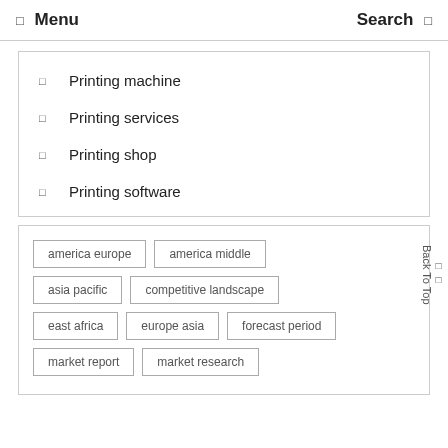Menu  Search
Printing machine
Printing services
Printing shop
Printing software
america europe  america middle  asia pacific  competitive landscape  east africa  europe asia  forecast period  market report  market research